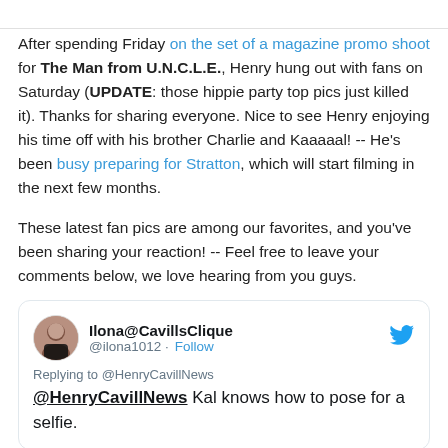After spending Friday on the set of a magazine promo shoot for The Man from U.N.C.L.E., Henry hung out with fans on Saturday (UPDATE: those hippie party top pics just killed it). Thanks for sharing everyone. Nice to see Henry enjoying his time off with his brother Charlie and Kaaaaal! -- He's been busy preparing for Stratton, which will start filming in the next few months.

These latest fan pics are among our favorites, and you've been sharing your reaction! -- Feel free to leave your comments below, we love hearing from you guys.
[Figure (screenshot): Embedded tweet card from Ilona@CavillsClique (@ilona1012) replying to @HenryCavillNews: '@HenryCavillNews Kal knows how to pose for a selfie.' with Twitter bird icon.]